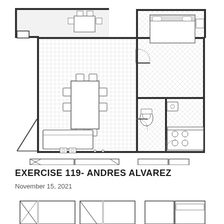[Figure (engineering-diagram): Architectural floor plan drawing showing an apartment layout with living/dining area with table and chairs, bedroom with bed, bathroom with toilet and fixtures, kitchen with appliances (stovetop circles, sink), door swings shown as quarter-circle arcs, tile patterns shown as crosshatch/grid, and a covered porch/terrace area with vertical line pattern at top left. Bottom portion shows partial elevation/section drawings.]
EXERCISE 119- ANDRES ALVAREZ
November 15, 2021